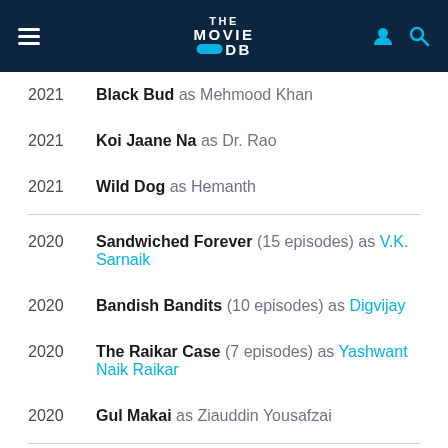THE MOVIE DB
2021  Black Bud as Mehmood Khan
2021  Koi Jaane Na as Dr. Rao
2021  Wild Dog as Hemanth
2020  Sandwiched Forever (15 episodes) as V.K. Sarnaik
2020  Bandish Bandits (10 episodes) as Digvijay
2020  The Raikar Case (7 episodes) as Yashwant Naik Raikar
2020  Gul Makai as Ziauddin Yousafzai
2019  Valiyaperunnal
2019  Alidu Ulidavaru